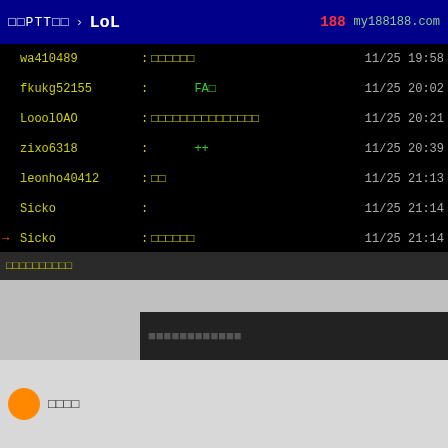批踢踢實業坊 > LoL  188  my188188.com
wa410489 : 推推推推推推  11/25 19:58
fkukg52155 :  FA推  11/25 20:02
LooolOAO : 推推推推推推推推推推推推推推推  11/25 20:21
zixo6318 :  ++  11/25 20:39
leonho40412 : 推推  11/25 21:13
Sicko :   11/25 21:14
→ Sicko : 推推推推推推  11/25 21:14
marty7976 : 推推推推  11/25 22:25
Sakurajima99:  +  11/25 22:42
louis82828 : 推推推推推推  11/25 22:42
smallcar801 : 推推推推推推推推推推推推推推推推推推推推推推推  11/25 22:43
kevin51521 : Blaber  11/25 23:58
Jinx :   11/26 09:38
推推推推推推推推推推